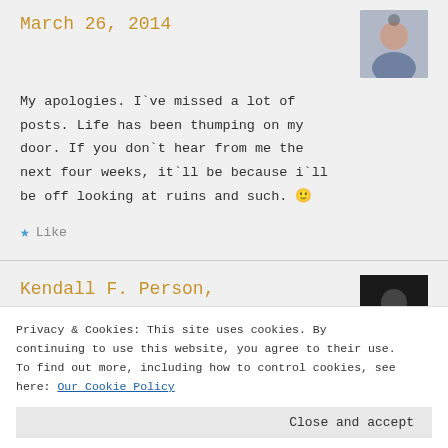March 26, 2014
My apologies. I`ve missed a lot of posts. Life has been thumping on my door. If you don`t hear from me the next four weeks, it`ll be because i`ll be off looking at ruins and such. 🙂
★ Like
Kendall F. Person,
Privacy & Cookies: This site uses cookies. By continuing to use this website, you agree to their use. To find out more, including how to control cookies, see here: Our Cookie Policy
Close and accept
to be here and enjoy the shows, not